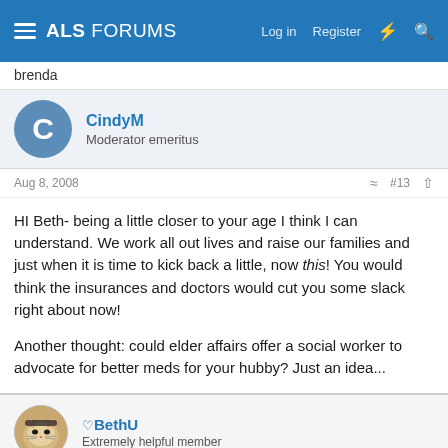ALS FORUMS  Log in  Register
brenda
CindyM
Moderator emeritus
Aug 8, 2008  #13
HI Beth- being a little closer to your age I think I can understand. We work all out lives and raise our families and just when it is time to kick back a little, now this! You would think the insurances and doctors would cut you some slack right about now!

Another thought: could elder affairs offer a social worker to advocate for better meds for your hubby? Just an idea...
BethU
Extremely helpful member